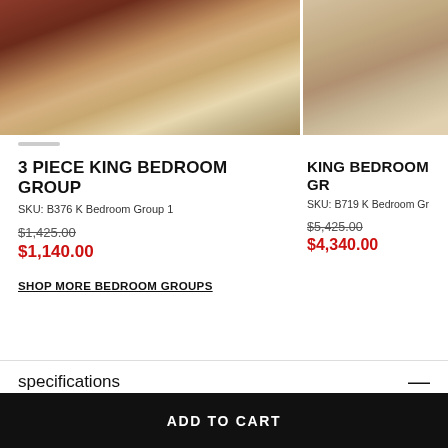[Figure (photo): Left product photo: dark cherry wood sleigh bed with nightstands on patterned rug in bedroom setting]
[Figure (photo): Right product photo: light brown wood bedroom set with white bedding on wood floor]
3 PIECE KING BEDROOM GROUP
SKU: B376 K Bedroom Group 1
$1,425.00
$1,140.00
SHOP MORE BEDROOM GROUPS
KING BEDROOM GR
SKU: B719 K Bedroom Gr
$5,425.00
$4,340.00
specifications
ADD TO CART